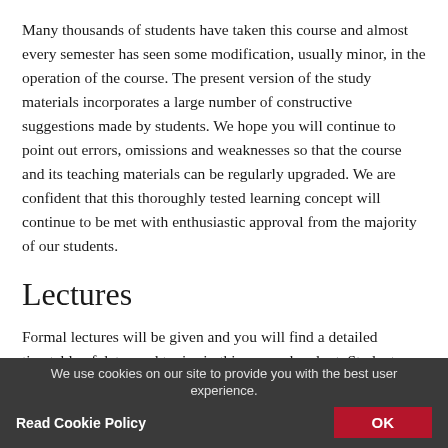Many thousands of students have taken this course and almost every semester has seen some modification, usually minor, in the operation of the course. The present version of the study materials incorporates a large number of constructive suggestions made by students. We hope you will continue to point out errors, omissions and weaknesses so that the course and its teaching materials can be regularly upgraded. We are confident that this thoroughly tested learning concept will continue to be met with enthusiastic approval from the majority of our students.
Lectures
Formal lectures will be given and you will find a detailed timetable of dates and topics in this course handout. Students may attend all of the lectures or select only those
We use cookies on our site to provide you with the best user experience.
Read Cookie Policy    OK